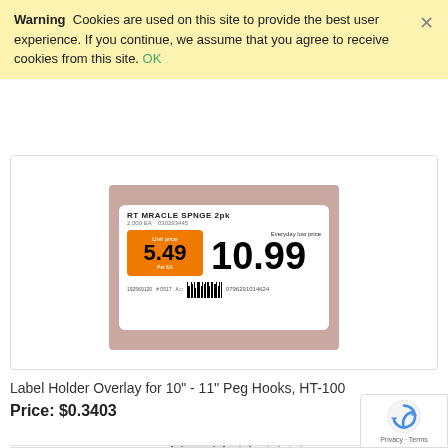Warning  Cookies are used on this site to provide the best user experience. If you continue, we assume that you agree to receive cookies from this site. OK
[Figure (photo): Price tag label on a retail shelf showing 'RT MRACLE SPNGE 2pk', unit price $5.49 (orange background) and everyday low price $10.99, with barcode 0796291014624]
Label Holder Overlay for 10" - 11" Peg Hooks, HT-100
Price: $0.3403
[Figure (illustration): Line drawing illustration of label holder overlays for peg hooks, showing multiple sizes stacked]